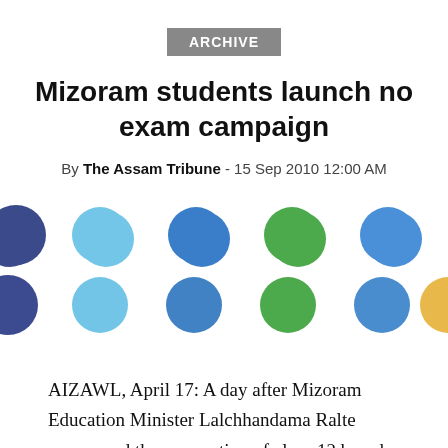ARCHIVE
Mizoram students launch no exam campaign
By The Assam Tribune - 15 Sep 2010 12:00 AM
[Figure (illustration): Row of social media sharing icon circles: dark blue (Facebook), light blue (Twitter), medium blue, green, blue, yellow/gold, dark brown/black]
AIZAWL, April 17: A day after Mizoram Education Minister Lalchhandama Ralte announced the resumption of class-12 board examination, a group of students on Thursday launched a campaign on social media